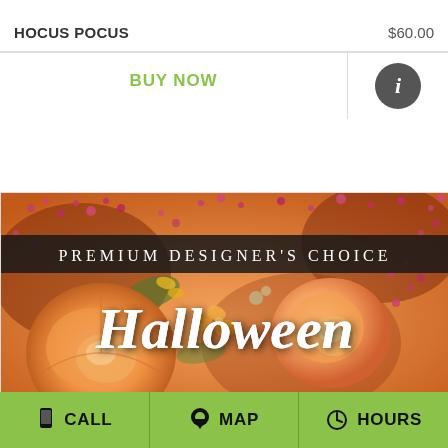HOCUS POCUS   $60.00
BUY NOW
[Figure (photo): Halloween Premium Designer's Choice floral arrangement featuring orange roses, alstroemeria, and pink wax flowers with text overlay reading 'Premium Designer's Choice' and 'Halloween' in script lettering]
CALL   MAP   HOURS